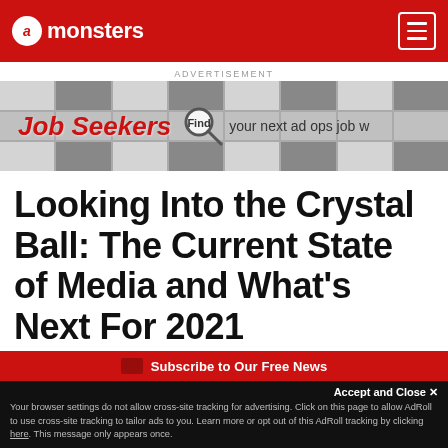AdMonsters
[Figure (infographic): Advertisement banner for job seekers: 'Job Seekers Find your next ad ops job']
ADVERTISEMENT
Looking Into the Crystal Ball: The Current State of Media and What's Next For 2021
Subscribe to Our Free News
Accept and Close ✕
Your browser settings do not allow cross-site tracking for advertising. Click on this page to allow AdRoll to use cross-site tracking to tailor ads to you. Learn more or opt out of this AdRoll tracking by clicking here. This message only appears once.